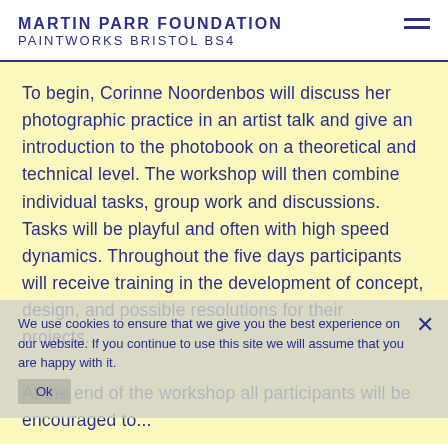MARTIN PARR FOUNDATION
PAINTWORKS BRISTOL BS4
To begin, Corinne Noordenbos will discuss her photographic practice in an artist talk and give an introduction to the photobook on a theoretical and technical level. The workshop will then combine individual tasks, group work and discussions. Tasks will be playful and often with high speed dynamics. Throughout the five days participants will receive training in the development of concept, design, and possible resolutions for their projects...
We use cookies to ensure that we give you the best experience on our website. If you continue to use this site we will assume that you are happy with it.
At the end of the workshop all participants will be encouraged to...